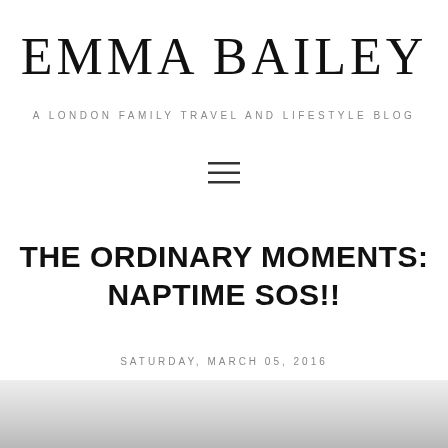EMMA BAILEY
A LONDON FAMILY TRAVEL AND LIFESTYLE BLOG
[Figure (other): Hamburger menu icon with three horizontal lines]
THE ORDINARY MOMENTS: NAPTIME SOS!!
SATURDAY, MARCH 05, 2016
[Figure (photo): Partial photo at the bottom of the page, light grey/white background]